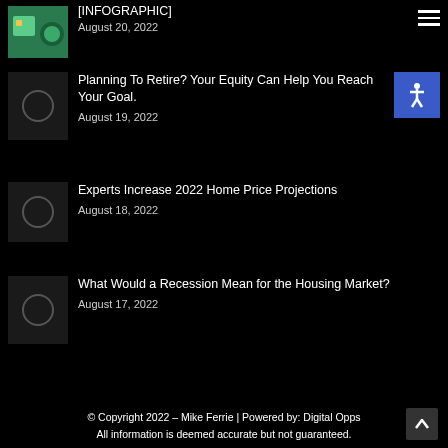[Figure (illustration): Small thumbnail with green background illustration for infographic post]
[INFOGRAPHIC]
August 20, 2022
[Figure (other): Dark thumbnail with circle placeholder for Planning To Retire article]
Planning To Retire? Your Equity Can Help You Reach Your Goal.
August 19, 2022
[Figure (other): Dark thumbnail with circle placeholder for Experts Increase article]
Experts Increase 2022 Home Price Projections
August 18, 2022
[Figure (other): Dark thumbnail with circle placeholder for Recession article]
What Would a Recession Mean for the Housing Market?
August 17, 2022
© Copyright 2022 – Mike Ferrie | Powered by: Digital Opps
All information is deemed accurate but not guaranteed.